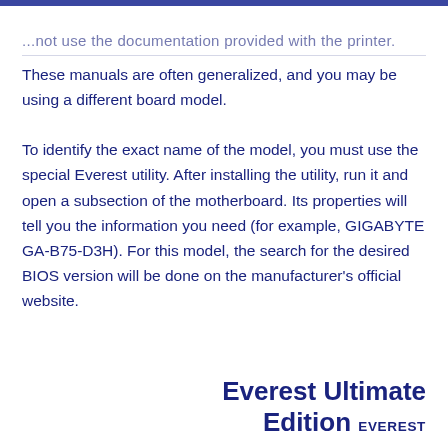...not use the documentation provided with the printer. These manuals are often generalized, and you may be using a different board model.
To identify the exact name of the model, you must use the special Everest utility. After installing the utility, run it and open a subsection of the motherboard. Its properties will tell you the information you need (for example, GIGABYTE GA-B75-D3H). For this model, the search for the desired BIOS version will be done on the manufacturer's official website.
Everest Ultimate Edition EVEREST